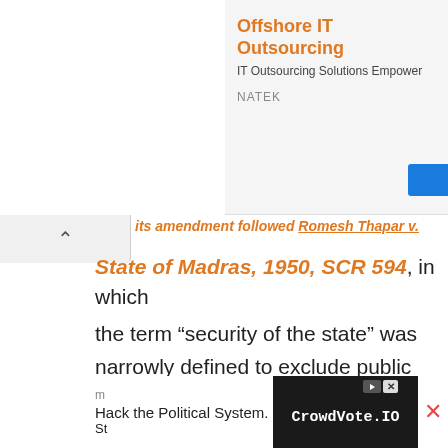[Figure (screenshot): Advertisement banner for Offshore IT Outsourcing (NATEK) with orange title text, subtitle, and blue button]
its amendment followed Romesh Thapar v. State of Madras, 1950, SCR 594, in which the term “security of the state” was narrowly defined to exclude public order. Mr. Romesh Thapar, a well-known journalist, and communist; wrote a few articles expressing his skepticism of then Prime Minister Jawaharlal Nehru’s foreign policies. A petition was made on behalf of a communist
[Figure (screenshot): Advertisement for CrowdVote.IO and Hack the Political System]